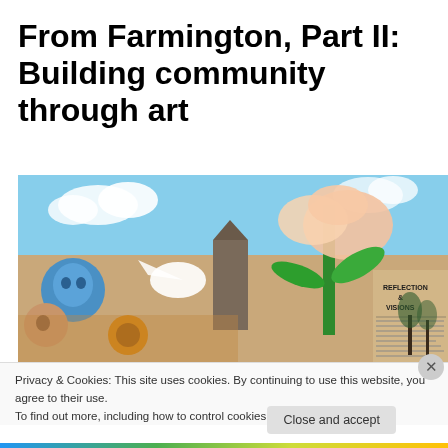From Farmington, Part II: Building community through art
[Figure (photo): Outdoor mural on a building wall showing colorful painted figures, flowers, a tower/building, and text reading 'REFLECTIONS & VISIONS' on the right side. Blue sky with clouds visible above.]
Privacy & Cookies: This site uses cookies. By continuing to use this website, you agree to their use.
To find out more, including how to control cookies, see here: Cookie Policy